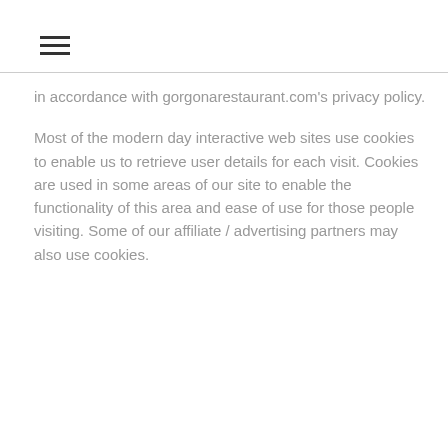≡
in accordance with gorgonarestaurant.com's privacy policy.
Most of the modern day interactive web sites use cookies to enable us to retrieve user details for each visit. Cookies are used in some areas of our site to enable the functionality of this area and ease of use for those people visiting. Some of our affiliate / advertising partners may also use cookies.